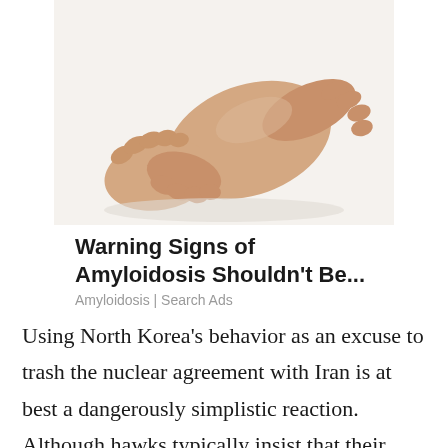[Figure (photo): Close-up photo of a person's lower leg and foot being held/massaged by two hands, against a white background. Suggests swelling or pain related to amyloidosis.]
Warning Signs of Amyloidosis Shouldn't Be...
Amyloidosis | Search Ads
Using North Korea's behavior as an excuse to trash the nuclear agreement with Iran is at best a dangerously simplistic reaction. Although hawks typically insist that their goal is to replace the current version with a better, stronger one that